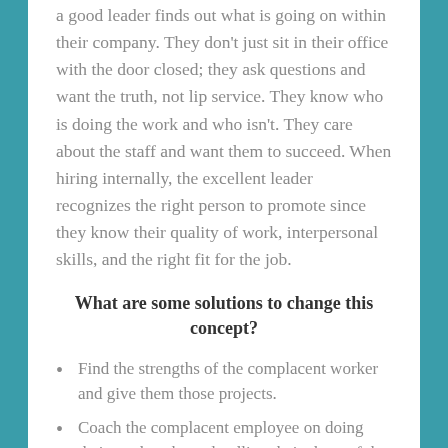a good leader finds out what is going on within their company. They don't just sit in their office with the door closed; they ask questions and want the truth, not lip service. They know who is doing the work and who isn't. They care about the staff and want them to succeed. When hiring internally, the excellent leader recognizes the right person to promote since they know their quality of work, interpersonal skills, and the right fit for the job.
What are some solutions to change this concept?
Find the strengths of the complacent worker and give them those projects.
Coach the complacent employee on doing their work tasks and pulling their share of the workload.